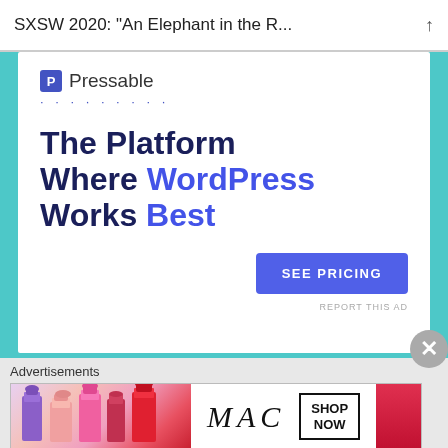SXSW 2020: “An Elephant in the R…
[Figure (logo): Pressable logo with blue P icon and dotted line below]
The Platform Where WordPress Works Best
[Figure (other): SEE PRICING button in blue]
REPORT THIS AD
SHARE THIS:
Advertisements
[Figure (photo): MAC cosmetics advertisement with colorful lipsticks and SHOP NOW button]